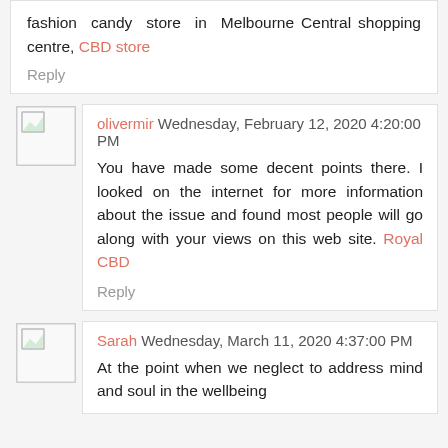fashion candy store in Melbourne Central shopping centre, CBD store
Reply
olivermir Wednesday, February 12, 2020 4:20:00 PM
You have made some decent points there. I looked on the internet for more information about the issue and found most people will go along with your views on this web site. Royal CBD
Reply
Sarah Wednesday, March 11, 2020 4:37:00 PM
At the point when we neglect to address mind and soul in the wellbeing